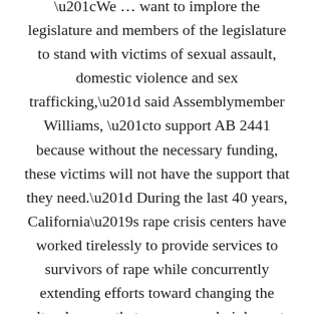“We … want to implore the legislature and members of the legislature to stand with victims of sexual assault, domestic violence and sex trafficking,” said Assemblymember Williams, “to support AB 2441 because without the necessary funding, these victims will not have the support that they need.” During the last 40 years, California’s rape crisis centers have worked tirelessly to provide services to survivors of rape while concurrently extending efforts toward changing the cultural norms that cause sexual violence to happen in the first place. Due to the lack of funding for rape crisis